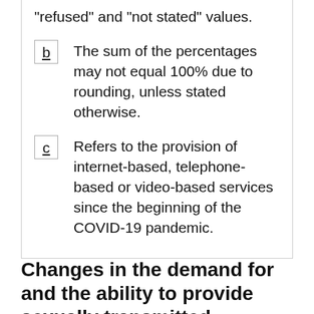"refused" and "not stated" values.
b  The sum of the percentages may not equal 100% due to rounding, unless stated otherwise.
c  Refers to the provision of internet-based, telephone-based or video-based services since the beginning of the COVID-19 pandemic.
Changes in the demand for and the ability to provide sexually transmitted